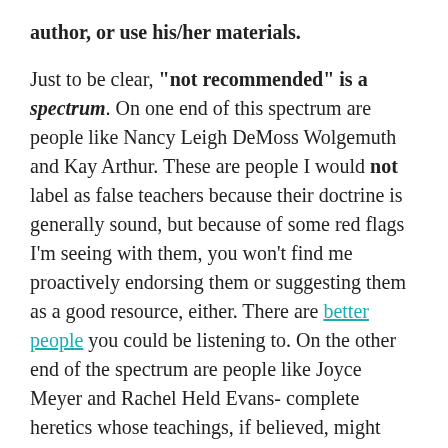author, or use his/her materials.
Just to be clear, "not recommended" is a spectrum. On one end of this spectrum are people like Nancy Leigh DeMoss Wolgemuth and Kay Arthur. These are people I would not label as false teachers because their doctrine is generally sound, but because of some red flags I'm seeing with them, you won't find me proactively endorsing them or suggesting them as a good resource, either. There are better people you could be listening to. On the other end of the spectrum are people like Joyce Meyer and Rachel Held Evans- complete heretics whose teachings, if believed, might lead you to an eternity in Hell. Most of the teachers I review fall somewhere in the middle of this spectrum (leaning toward the latter).
If you'd like to...